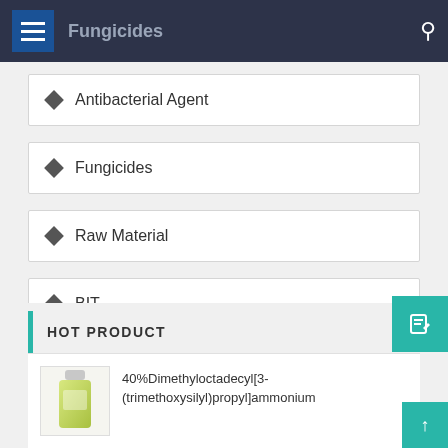Fungicides
Antibacterial Agent
Fungicides
Raw Material
BIT
BBIT
HOT PRODUCT
40%Dimethyloctadecyl[3-(trimethoxysilyl)propyl]ammonium